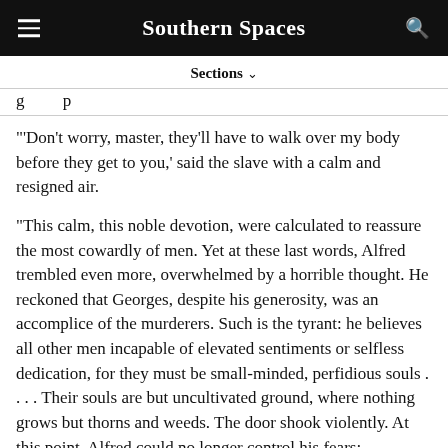Southern Spaces
Sections ∨
g        p
"'Don't worry, master, they'll have to walk over my body before they get to you,' said the slave with a calm and resigned air.
"This calm, this noble devotion, were calculated to reassure the most cowardly of men. Yet at these last words, Alfred trembled even more, overwhelmed by a horrible thought. He reckoned that Georges, despite his generosity, was an accomplice of the murderers. Such is the tyrant: he believes all other men incapable of elevated sentiments or selfless dedication, for they must be small-minded, perfidious souls . . . . Their souls are but uncultivated ground, where nothing grows but thorns and weeds. The door shook violently. At this point, Alfred could no longer control his fears;